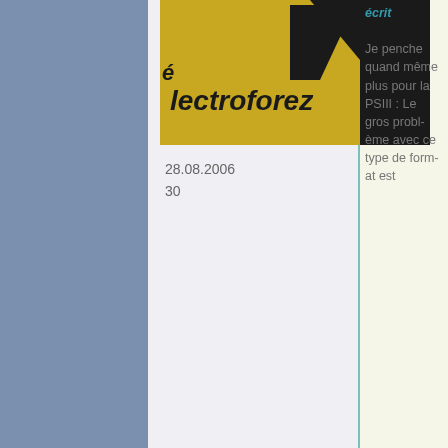[Figure (logo): Electroforez logo with black and yellow design, showing partial text 'lectroforez' with stylized graphic]
28.08.2006
30
écrit

Je penche quand même plus pour la PSIII : Le gros problème avec ce type de format est